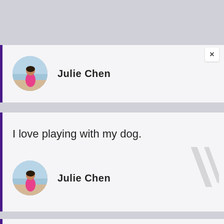[Figure (photo): Profile card showing a circular avatar photo of a woman in a pink outfit on a beach, with the name Julie Chen in bold next to it. A close (×) button is visible in the top right corner.]
I love playing with my dog.
[Figure (photo): Profile card showing a circular avatar photo of a woman in a pink outfit on a beach, with the name Julie Chen in bold next to it.]